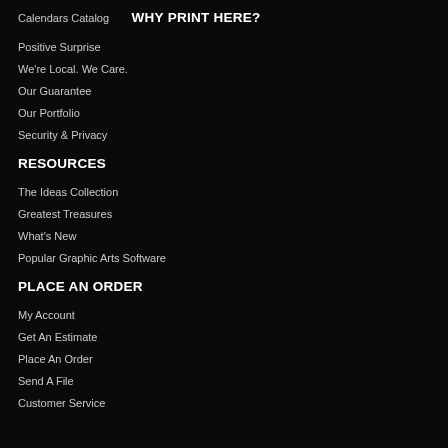Calendars Catalog
WHY PRINT HERE?
Positive Surprise
We're Local. We Care.
Our Guarantee
Our Portfolio
Security & Privacy
RESOURCES
The Ideas Collection
Greatest Treasures
What's New
Popular Graphic Arts Software
PLACE AN ORDER
My Account
Get An Estimate
Place An Order
Send A File
Customer Service